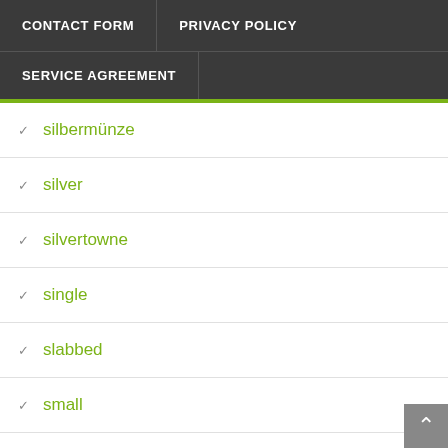CONTACT FORM | PRIVACY POLICY
SERVICE AGREEMENT
silbermünze
silver
silvertowne
single
slabbed
small
smint
soma
sp70
span
spare